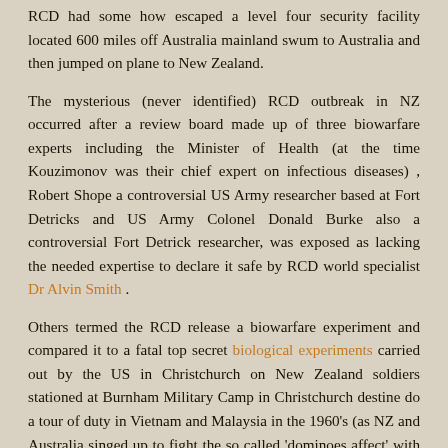RCD had some how escaped a level four security facility located 600 miles off Australia mainland swum to Australia and then jumped on plane to New Zealand.
The mysterious (never identified) RCD outbreak in NZ occurred after a review board made up of three biowarfare experts including the Minister of Health (at the time Kouzimonov was their chief expert on infectious diseases) , Robert Shope a controversial US Army researcher based at Fort Detricks and US Army Colonel Donald Burke also a controversial Fort Detrick researcher, was exposed as lacking the needed expertise to declare it safe by RCD world specialist Dr Alvin Smith .
Others termed the RCD release a biowarfare experiment and compared it to a fatal top secret biological experiments carried out by the US in Christchurch on New Zealand soldiers stationed at Burnham Military Camp in Christchurch destine do a tour of duty in Vietnam and Malaysia in the 1960's (as NZ and Australia singed up to fight the so called 'dominoes affect' with America in South East Asia). An era where soldiers were also exposed